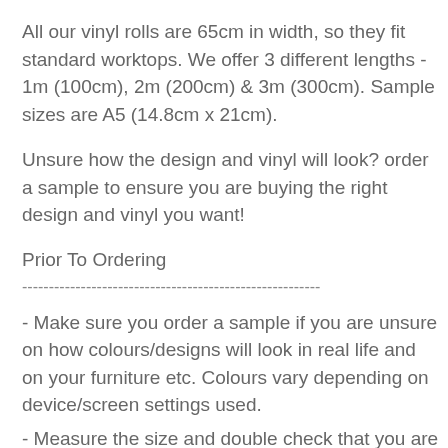All our vinyl rolls are 65cm in width, so they fit standard worktops. We offer 3 different lengths - 1m (100cm), 2m (200cm) & 3m (300cm). Sample sizes are A5 (14.8cm x 21cm).
Unsure how the design and vinyl will look? order a sample to ensure you are buying the right design and vinyl you want!
Prior To Ordering
--------------------------------------------------------
- Make sure you order a sample if you are unsure on how colours/designs will look in real life and on your furniture etc. Colours vary depending on device/screen settings used.
- Measure the size and double check that you are